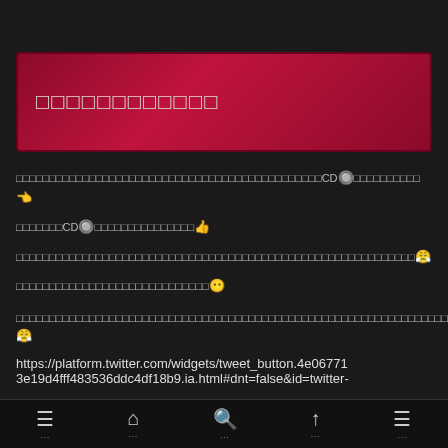□□□□□□□□□□□□
□□□□□□□□□□□□□□□□□□□□□□□□□□□□□□□□□□□□□□□□□□□□□□CD🔘□□□□□□□□□□□👈
□□□□□□□CD🔘□□□□□□□□□□□□□□□👍
□□□□□□□□□□□□□□□□□□□□□□□□□□□□□□□□□□□□□□□□□□□□□□□□□□□□□□□□□□□□😤
□□□□□□□□□□□□□□□□□□□□□□□□□□□□□😶
□□□□□□□□□□□□□□□□□□□□□□□□□□□□□□□□□□□□□□□□□□□□□□□□□□□□□□□□□□□□□□□□□□□□□□□□□□□😤
https://platform.twitter.com/widgets/tweet_button.4e067713e19d4fff483536ddc4df18b9.ia.html#dnt=false&id=twitter-
≡  🏠  🔍  ↑  ≡